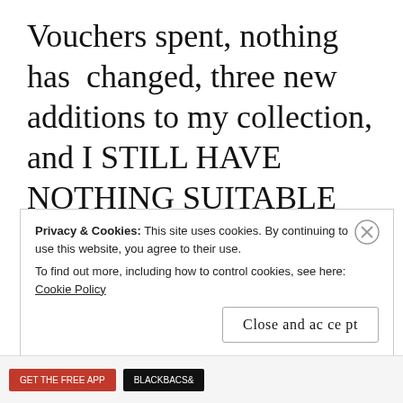Vouchers spent, nothing has changed, three new additions to my collection, and I STILL HAVE NOTHING SUITABLE TO WEAR.
Privacy & Cookies: This site uses cookies. By continuing to use this website, you agree to their use.
To find out more, including how to control cookies, see here: Cookie Policy
Close and accept